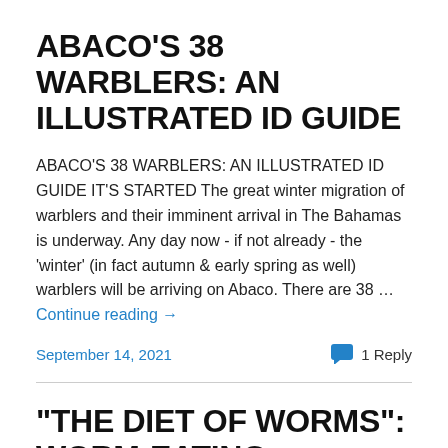ABACO'S 38 WARBLERS: AN ILLUSTRATED ID GUIDE
ABACO'S 38 WARBLERS: AN ILLUSTRATED ID GUIDE IT'S STARTED The great winter migration of warblers and their imminent arrival in The Bahamas is underway. Any day now - if not already - the 'winter' (in fact autumn & early spring as well) warblers will be arriving on Abaco. There are 38 … Continue reading →
September 14, 2021
1 Reply
"THE DIET OF WORMS": WORM-EATING WARBLERS